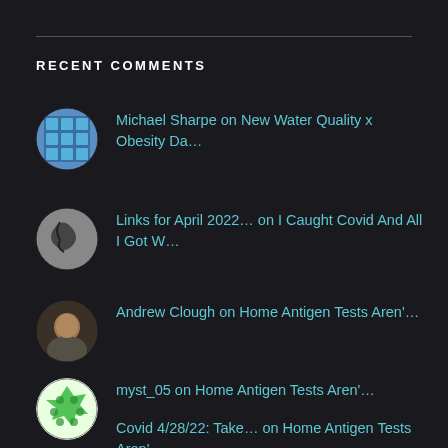RECENT COMMENTS
Michael Sharpe on New Water Quality x Obesity Da...
Links for April 2022… on I Caught Covid And All I Got W...
Andrew Clough on Home Antigen Tests Aren'...
myst_05 on Home Antigen Tests Aren'...
Covid 4/28/22: Take… on Home Antigen Tests Aren'...